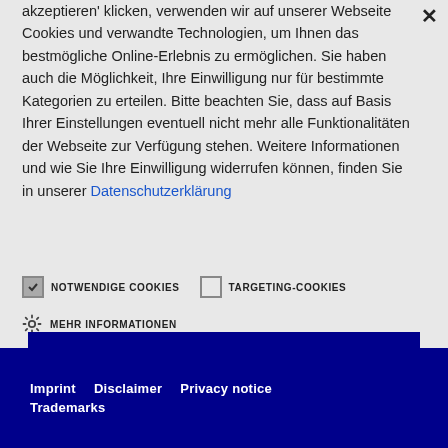akzeptieren' klicken, verwenden wir auf unserer Webseite Cookies und verwandte Technologien, um Ihnen das bestmögliche Online-Erlebnis zu ermöglichen. Sie haben auch die Möglichkeit, Ihre Einwilligung nur für bestimmte Kategorien zu erteilen. Bitte beachten Sie, dass auf Basis Ihrer Einstellungen eventuell nicht mehr alle Funktionalitäten der Webseite zur Verfügung stehen. Weitere Informationen und wie Sie Ihre Einwilligung widerrufen können, finden Sie in unserer Datenschutzerklärung
NOTWENDIGE COOKIES
TARGETING-COOKIES
MEHR INFORMATIONEN
Imprint  Disclaimer  Privacy notice  Trademarks